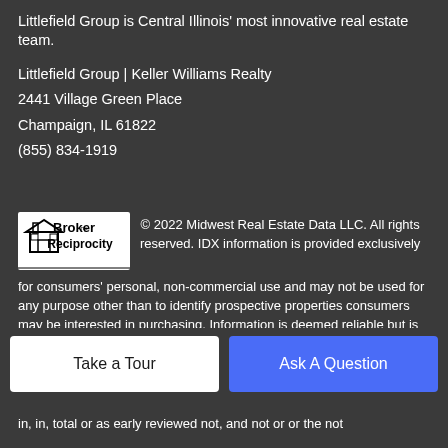Littlefield Group is Central Illinois' most innovative real estate team.
Littlefield Group | Keller Williams Realty
2441 Village Green Place
Champaign, IL 61822
(855) 834-1919
© 2022 Midwest Real Estate Data LLC. All rights reserved. IDX information is provided exclusively for consumers' personal, non-commercial use and may not be used for any purpose other than to identify prospective properties consumers may be interested in purchasing. Information is deemed reliable but is not guaranteed accurate by MTP, MRED or Littlefield Group | Keller Williams Realty. Based on information submitted to the MRED as of 2022-09-05T15:58:44.387 UTC. All data is obtained from various sources and has not been, and will
[Figure (logo): Broker Reciprocity logo — house icon with 'Broker Reciprocity' text]
Take a Tour
Ask A Question